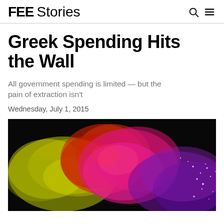FEE Stories
Greek Spending Hits the Wall
All government spending is limited — but the pain of extraction isn't
Wednesday, July 1, 2015
[Figure (photo): Colorful powder explosion on black background — yellow, red, pink, magenta, purple colors spreading outward]